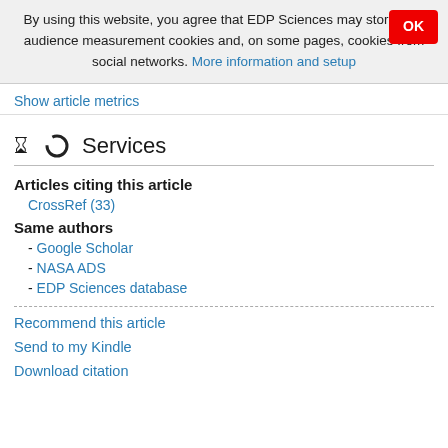By using this website, you agree that EDP Sciences may store web audience measurement cookies and, on some pages, cookies from social networks. More information and setup
Show article metrics
Services
Articles citing this article
CrossRef (33)
Same authors
- Google Scholar
- NASA ADS
- EDP Sciences database
Recommend this article
Send to my Kindle
Download citation